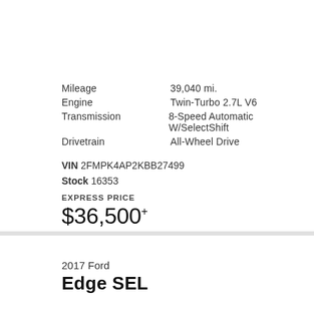Mileage: 39,040 mi.
Engine: Twin-Turbo 2.7L V6
Transmission: 8-Speed Automatic W/SelectShift
Drivetrain: All-Wheel Drive
VIN 2FMPK4AP2KBB27499
Stock 16353
EXPRESS PRICE
$36,500+
2017 Ford
Edge SEL